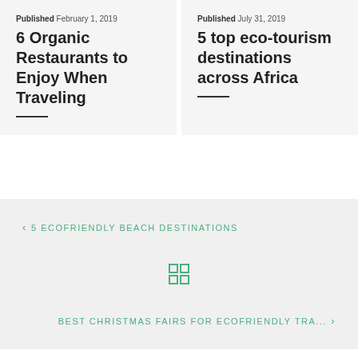Published February 1, 2019
6 Organic Restaurants to Enjoy When Traveling
Published July 31, 2019
5 top eco-tourism destinations across Africa
< 5 ECOFRIENDLY BEACH DESTINATIONS
[Figure (other): Grid/menu icon made of 4 squares]
BEST CHRISTMAS FAIRS FOR ECOFRIENDLY TRA... >